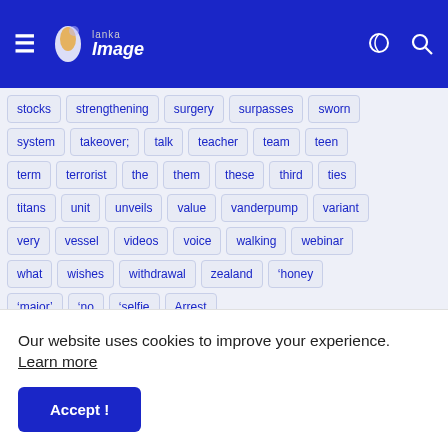Lanka Image
stocks
strengthening
surgery
surpasses
sworn
system
takeover;
talk
teacher
team
teen
term
terrorist
the
them
these
third
ties
titans
unit
unveils
value
vanderpump
variant
very
vessel
videos
voice
walking
webinar
what
wishes
withdrawal
zealand
‘honey
‘major’
‘no
‘selfie
Arrest
Maithreepala Sirisena
Movies
PM
Prime Minister
Our website uses cookies to improve your experience. Learn more
Accept !